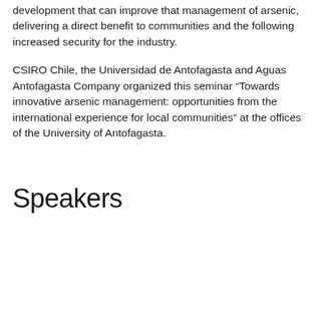development that can improve that management of arsenic, delivering a direct benefit to communities and the following increased security for the industry.
CSIRO Chile, the Universidad de Antofagasta and Aguas Antofagasta Company organized this seminar “Towards innovative arsenic management: opportunities from the international experience for local communities” at the offices of the University of Antofagasta.
Speakers